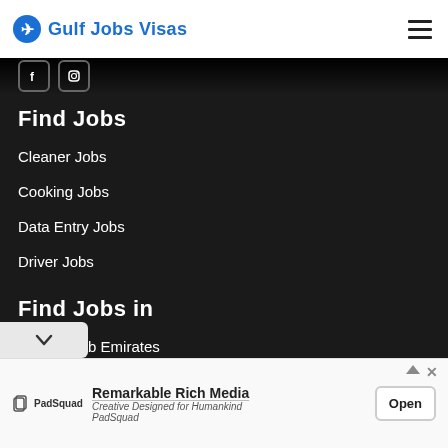Gulf Jobs Visas
Find Jobs
Cleaner Jobs
Cooking Jobs
Data Entry Jobs
Driver Jobs
Find Jobs in
United Arab Emirates
[Figure (screenshot): Ad banner: PadSquad - Remarkable Rich Media, Creative Designed for Humankind, with Open button]